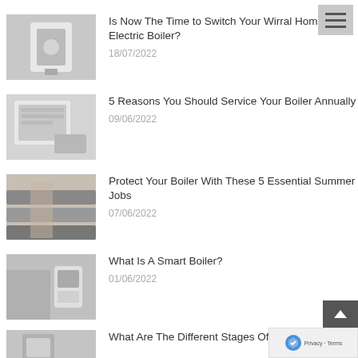[Figure (screenshot): Hamburger menu icon top right]
[Figure (photo): Electric boiler mounted on wall]
Is Now The Time to Switch Your Wirral Home to an Electric Boiler?
18/07/2022
[Figure (photo): Person servicing a boiler, holding paperwork]
5 Reasons You Should Service Your Boiler Annually
09/06/2022
[Figure (photo): Hands working on pipe insulation]
Protect Your Boiler With These 5 Essential Summer Jobs
07/06/2022
[Figure (photo): Person adjusting a smart thermostat]
What Is A Smart Boiler?
01/06/2022
[Figure (photo): Person operating boiler controls]
What Are The Different Stages Of A New